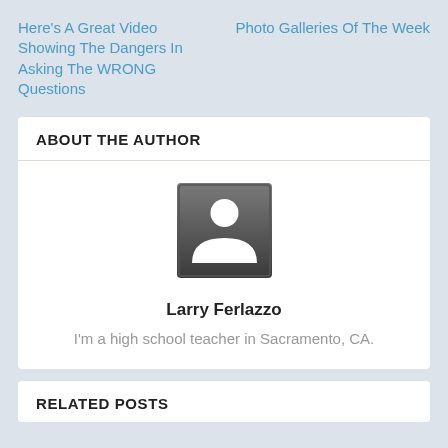Here's A Great Video Showing The Dangers In Asking The WRONG Questions
Photo Galleries Of The Week
ABOUT THE AUTHOR
[Figure (illustration): Default user avatar placeholder icon — white silhouette of a person on a dark gray gradient square background]
Larry Ferlazzo
I'm a high school teacher in Sacramento, CA.
RELATED POSTS